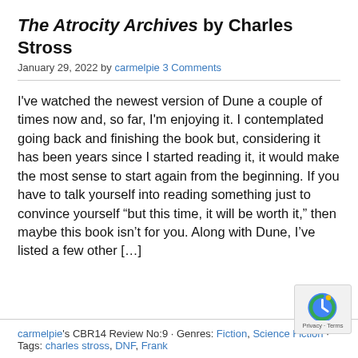The Atrocity Archives by Charles Stross
January 29, 2022 by carmelpie 3 Comments
I've watched the newest version of Dune a couple of times now and, so far, I'm enjoying it. I contemplated going back and finishing the book but, considering it has been years since I started reading it, it would make the most sense to start again from the beginning. If you have to talk yourself into reading something just to convince yourself “but this time, it will be worth it,” then maybe this book isn’t for you. Along with Dune, I’ve listed a few other [...]
carmelpie's CBR14 Review No:9 · Genres: Fiction, Science Fiction · Tags: charles stross, DNF, Frank